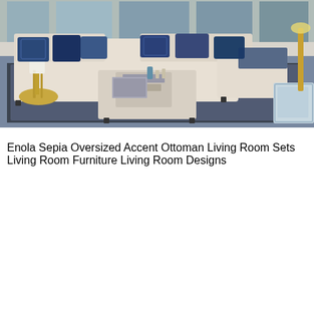[Figure (photo): Interior photo of a modern living room featuring a large beige/cream sectional sofa with navy blue accent pillows, a large square upholstered ottoman used as a coffee table with books and a tray, a blue patterned area rug, a gold round side table with a lamp, and decorative elements including candles and a vase. Large windows in the background.]
Enola Sepia Oversized Accent Ottoman Living Room Sets Living Room Furniture Living Room Designs